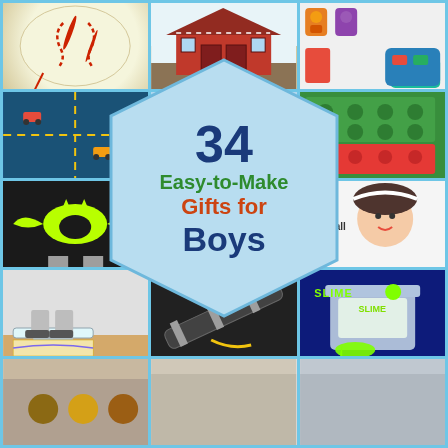[Figure (infographic): Collage of 12+ photos showing handmade gifts for boys including baseball, red barn, colorful monster toys, quilted car mat, lego blocks, Batman shirt, fabric scroll, football hat, balance board, telescope tube, slime jar, and a central hexagon overlay with title text '34 Easy-to-Make Gifts for Boys']